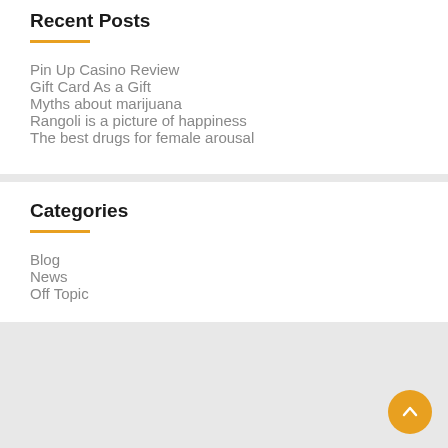Recent Posts
Pin Up Casino Review
Gift Card As a Gift
Myths about marijuana
Rangoli is a picture of happiness
The best drugs for female arousal
Categories
Blog
News
Off Topic